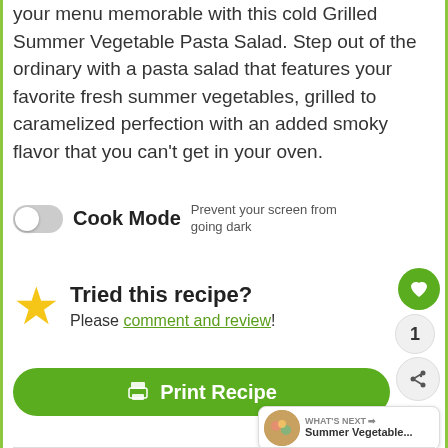your menu memorable with this cold Grilled Summer Vegetable Pasta Salad. Step out of the ordinary with a pasta salad that features your favorite fresh summer vegetables, grilled to caramelized perfection with an added smoky flavor that you can't get in your oven.
Cook Mode  Prevent your screen from going dark
Tried this recipe?
Please comment and review!
Print Recipe